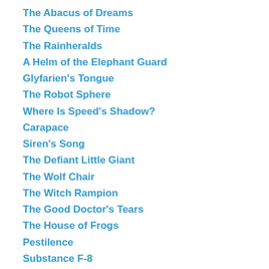The Abacus of Dreams
The Queens of Time
The Rainheralds
A Helm of the Elephant Guard
Glyfarien's Tongue
The Robot Sphere
Where Is Speed's Shadow?
Carapace
Siren's Song
The Defiant Little Giant
The Wolf Chair
The Witch Rampion
The Good Doctor's Tears
The House of Frogs
Pestilence
Substance F-8
The Tooth Fair
The Shallow Book
The Wayfarer's Buckle
The Blacksmith's Bucket